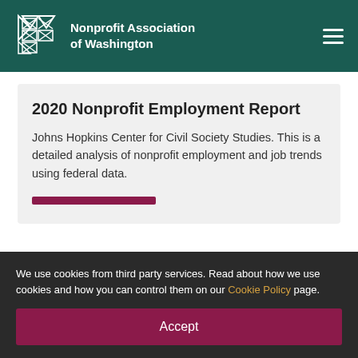Nonprofit Association of Washington
2020 Nonprofit Employment Report
Johns Hopkins Center for Civil Society Studies. This is a detailed analysis of nonprofit employment and job trends using federal data.
We use cookies from third party services. Read about how we use cookies and how you can control them on our Cookie Policy page.
Accept